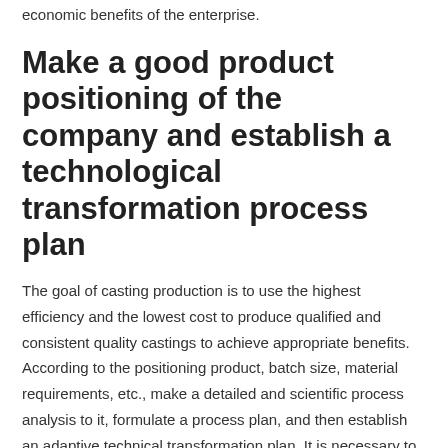economic benefits of the enterprise.
Make a good product positioning of the company and establish a technological transformation process plan
The goal of casting production is to use the highest efficiency and the lowest cost to produce qualified and consistent quality castings to achieve appropriate benefits. According to the positioning product, batch size, material requirements, etc., make a detailed and scientific process analysis to it, formulate a process plan, and then establish an adaptive technical transformation plan. It is necessary to establish the best concept that is applicable, and